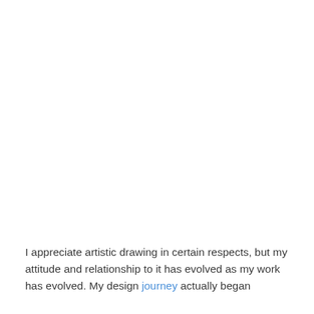I appreciate artistic drawing in certain respects, but my attitude and relationship to it has evolved as my work has evolved. My design journey actually began